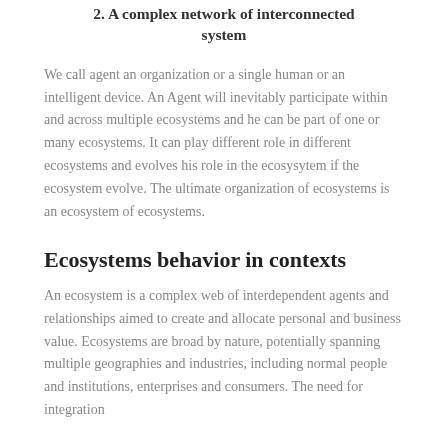2. A complex network of interconnected system
We call agent an organization or a single human or an intelligent device. An Agent will inevitably participate within and across multiple ecosystems and he can be part of one or many ecosystems. It can play different role in different ecosystems and evolves his role in the ecosysytem if the ecosystem evolve. The ultimate organization of ecosystems is an ecosystem of ecosystems.
Ecosystems behavior in contexts
An ecosystem is a complex web of interdependent agents and relationships aimed to create and allocate personal and business value. Ecosystems are broad by nature, potentially spanning multiple geographies and industries, including normal people and institutions, enterprises and consumers. The need for integration